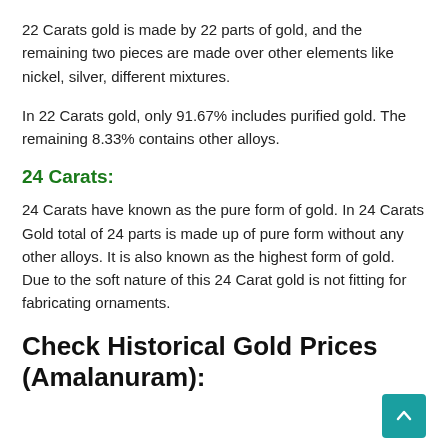22 Carats gold is made by 22 parts of gold, and the remaining two pieces are made over other elements like nickel, silver, different mixtures.
In 22 Carats gold, only 91.67% includes purified gold. The remaining 8.33% contains other alloys.
24 Carats:
24 Carats have known as the pure form of gold. In 24 Carats Gold total of 24 parts is made up of pure form without any other alloys. It is also known as the highest form of gold. Due to the soft nature of this 24 Carat gold is not fitting for fabricating ornaments.
Check Historical Gold Prices (Amalanuram):